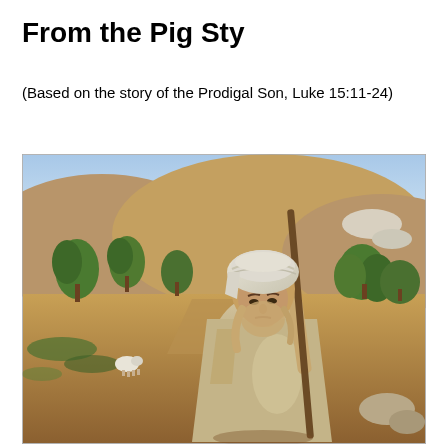From the Pig Sty
(Based on the story of the Prodigal Son, Luke 15:11-24)
[Figure (photo): A young man dressed in ancient Middle Eastern attire — a white head wrap and a beige tunic — holding a wooden staff over his shoulder, looking downward with a sorrowful expression. He stands in a dry, hilly landscape with olive trees in the background and a dirt path behind him. The scene evokes the biblical story of the Prodigal Son returning home.]